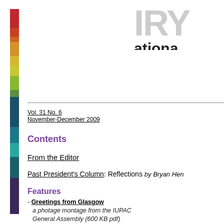[Figure (other): Colored vertical sidebar with segments: red, orange-red, orange, yellow-orange, yellow, yellow-green, green, teal-dark, dark blue, medium teal, light teal, dark teal-purple, purple-dark]
[Figure (logo): Partial logo showing 'IRY' in large light gray letters and 'ationa' in large bold black letters, representing the IUPAC journal masthead]
Vol. 31 No. 6
November-December 2009
Contents
From the Editor
Past President's Column: Reflections by Bryan Henry
Features
- Greetings from Glasgow
a photage montage from the IUPAC General Assembly (600 KB pdf)
- Roars from the Council Meeting by Chris Brouwer
- WCLM Generates Ideas for IYC2011 by John Malin and Bryan Henry